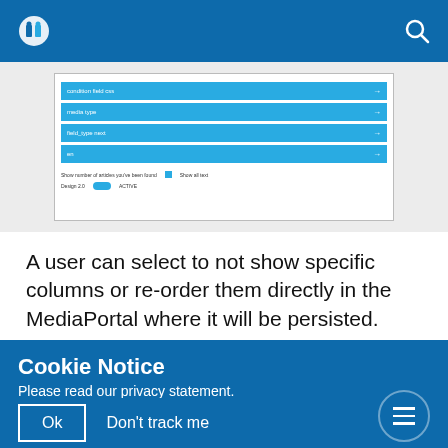MediaPortal logo and search icon
[Figure (screenshot): Screenshot of a MediaPortal interface showing dropdown rows with cyan/blue color for column configuration options including dropdowns and checkboxes for showing number of articles and display options.]
A user can select to not show specific columns or re-order them directly in the MediaPortal where it will be persisted.
Cookie Notice
Please read our privacy statement.
Our Privacy Policy
Ok
Don't track me